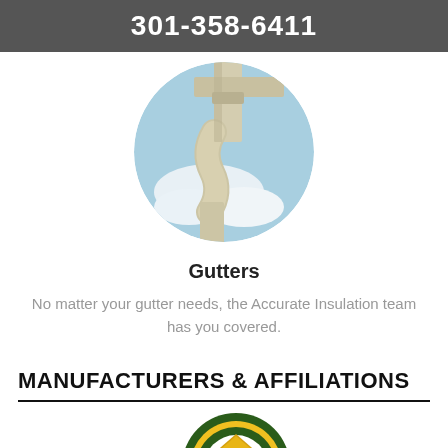301-358-6411
[Figure (photo): Circular photo showing white gutters/downspout against a blue sky with clouds]
Gutters
No matter your gutter needs, the Accurate Insulation team has you covered.
MANUFACTURERS & AFFILIATIONS
[Figure (logo): BPI (Building Performance Institute) circular green and yellow badge logo]